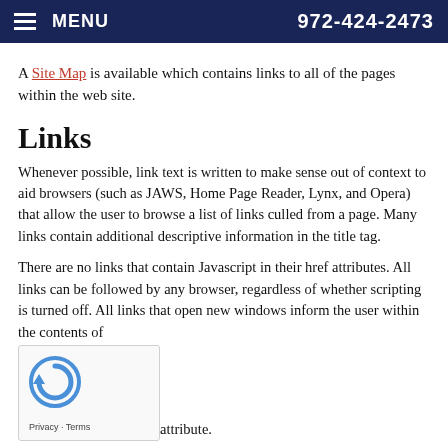≡ MENU    972-424-2473
A Site Map is available which contains links to all of the pages within the web site.
Links
Whenever possible, link text is written to make sense out of context to aid browsers (such as JAWS, Home Page Reader, Lynx, and Opera) that allow the user to browse a list of links culled from a page. Many links contain additional descriptive information in the title tag.
There are no links that contain Javascript in their href attributes. All links can be followed by any browser, regardless of whether scripting is turned off. All links that open new windows inform the user within the contents of attribute.
Images